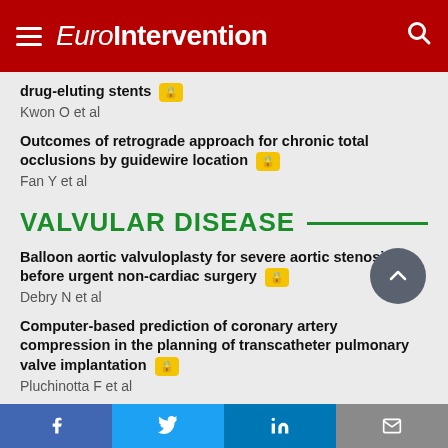EuroIntervention
drug-eluting stents
Kwon O et al
Outcomes of retrograde approach for chronic total occlusions by guidewire location
Fan Y et al
VALVULAR DISEASE
Balloon aortic valvuloplasty for severe aortic stenosis before urgent non-cardiac surgery
Debry N et al
Computer-based prediction of coronary artery compression in the planning of transcatheter pulmonary valve implantation
Pluchinotta F et al